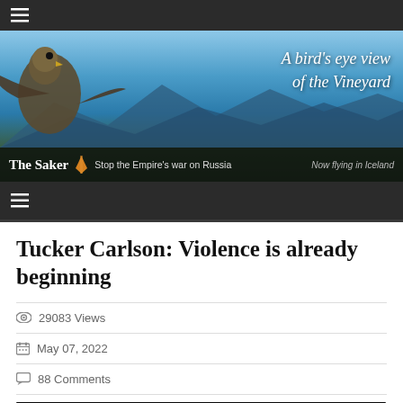The Saker — A bird's eye view of the Vineyard. Stop the Empire's war on Russia. Now flying in Iceland.
Tucker Carlson: Violence is already beginning
29083 Views
May 07, 2022
88 Comments
[Figure (screenshot): Fox News video thumbnail showing Tucker: Violence is already beginning]